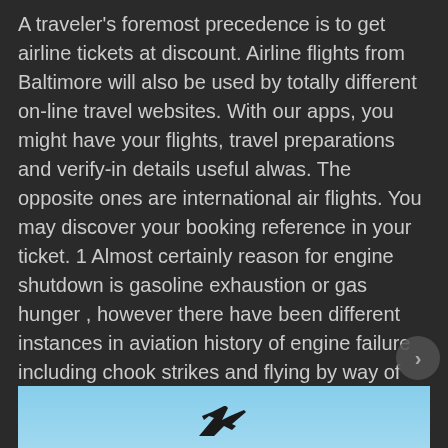A traveler's foremost precedence is to get airline tickets at discount. Airline flights from Baltimore will also be used by totally different on-line travel websites. With our apps, you might have your flights, travel preparations and verify-in details useful alwas. The opposite ones are international air flights. You may discover your booking reference in your ticket. 1 Almost certainly reason for engine shutdown is gasoline exhaustion or gas hunger , however there have been different instances in aviation history of engine failure including chook strikes and flying by way of volcano ash Below is a list of commercial airline flights that were forced to glide at some point whereas in the air.
[Figure (photo): Partial view of an aircraft silhouette against a blue sky, visible at the bottom of the page]